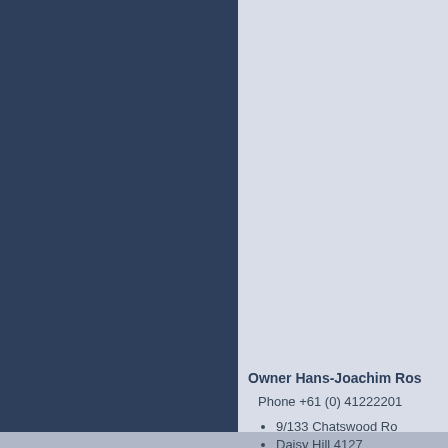Owner Hans-Joachim Ros
Phone +61 (0) 41222201
9/133 Chatswood Ro
Daisy Hill 4127
QLD
Australia
ABN 31797740534
dialog@rosehrmarketing.c
Datenschutzerklaerung Dis